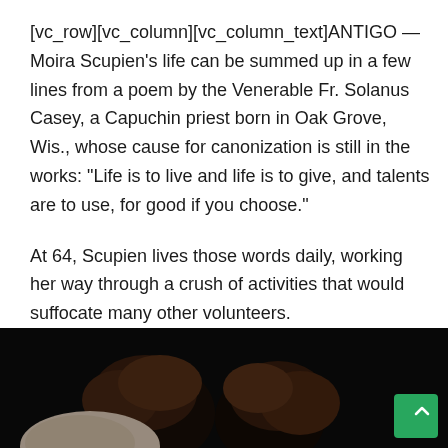[vc_row][vc_column][vc_column_text]ANTIGO — Moira Scupien's life can be summed up in a few lines from a poem by the Venerable Fr. Solanus Casey, a Capuchin priest born in Oak Grove, Wis., whose cause for canonization is still in the works: “Life is to live and life is to give, and talents are to use, for good if you choose.”
At 64, Scupien lives those words daily, working her way through a crush of activities that would suffocate many other volunteers.
[Figure (photo): Two people with heads close together, photographed from behind/side in dark lighting]